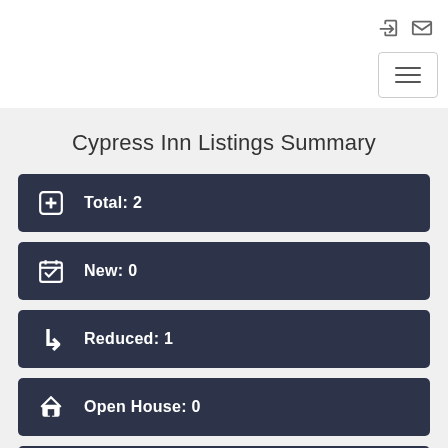Cypress Inn Listings Summary
Total: 2
New: 0
Reduced: 1
Open House: 0